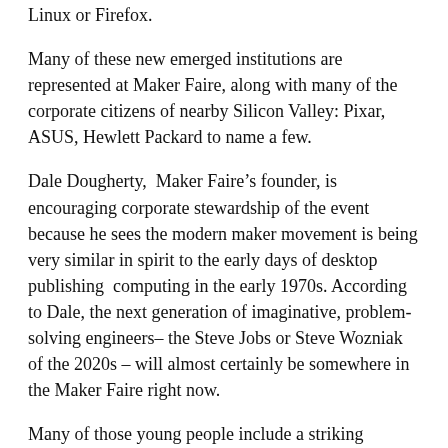Linux or Firefox.
Many of these new emerged institutions are represented at Maker Faire, along with many of the corporate citizens of nearby Silicon Valley: Pixar, ASUS, Hewlett Packard to name a few.
Dale Dougherty,  Maker Faire’s founder, is encouraging corporate stewardship of the event because he sees the modern maker movement is being very similar in spirit to the early days of desktop publishing  computing in the early 1970s. According to Dale, the next generation of imaginative, problem-solving engineers– the Steve Jobs or Steve Wozniak of the 2020s – will almost certainly be somewhere in the Maker Faire right now.
Many of those young people include a striking number of young women and girls. The stereotype of the nerdy young